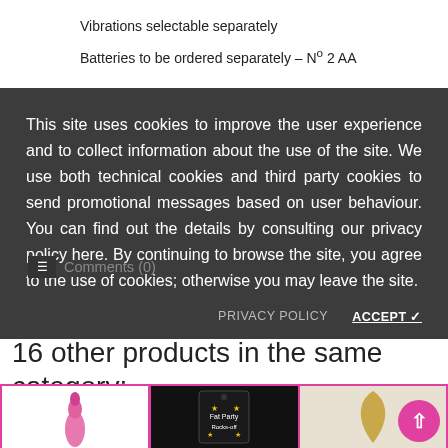Vibrations selectable separately
Batteries to be ordered separately – Nº 2 AA
This site uses cookies to improve the user experience and to collect information about the use of the site. We use both technical cookies and third party cookies to send promotional messages based on user behaviour. You can find out the details by consulting our privacy policy here. By continuing to browse the site, you agree to the use of cookies; otherwise you may leave the site.
Comments (0)
16 other products in the same category:
[Figure (photo): Three product thumbnail images showing: a pink vibrator, a dark packaged product with decorative text, and a gold/tan shaped product]
PRIVACY POLICY
ACCEPT ✓